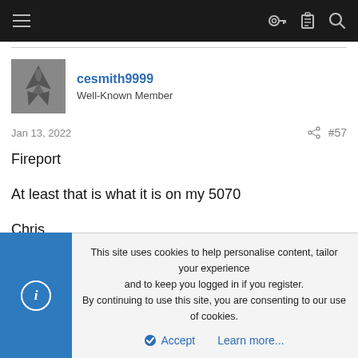Navigation bar with hamburger menu and icons (key, clipboard, search)
cesmith9999
Well-Known Member
Jan 13, 2022  #57
Fireport

At least that is what it is on my 5070

Chris
This site uses cookies to help personalise content, tailor your experience and to keep you logged in if you register.
By continuing to use this site, you are consenting to our use of cookies.

Accept    Learn more...